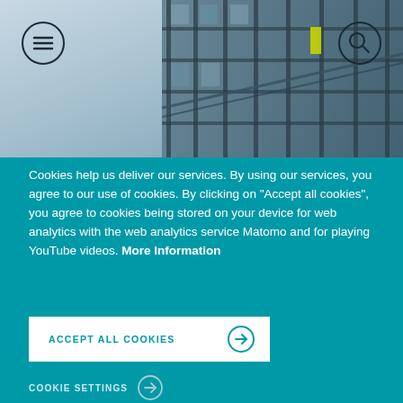[Figure (photo): Exterior photo of a modern glass office building with steel frame, blue sky background. Menu icon (hamburger) in top-left circle and search icon in top-right circle overlaid on photo.]
Cookies help us deliver our services. By using our services, you agree to our use of cookies. By clicking on “Accept all cookies”, you agree to cookies being stored on your device for web analytics with the web analytics service Matomo and for playing YouTube videos. More Information
ACCEPT ALL COOKIES
COOKIE SETTINGS